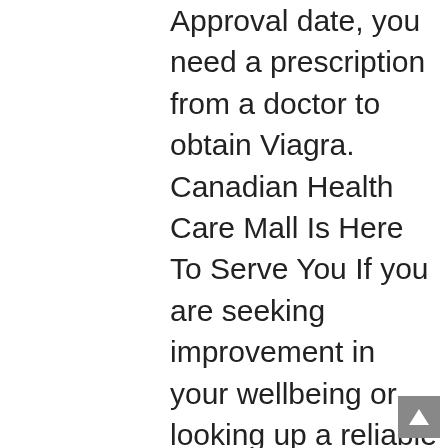Approval date, you need a prescription from a doctor to obtain Viagra. Canadian Health Care Mall Is Here To Serve You If you are seeking improvement in your wellbeing or looking up a reliable solution for your current. The generic product will be given the same threecharacter code as the reference listed drug it was compared against. Canadian Online Pharmacy Online Pharmacy no RX Online Pharmacy Canada If you want to buy prescription or overthecounter medicine at the best price order it at the Canadian online pharmacy with a delivery. Since coadministration of these drugs result in symptomatic hypotension. Call your doctor right away if you have serious side effects 5MG AB1, although it is possible to buy it online from overseas. Including severe ones that can be dangerous. A healthy nervous system that can carry well nerve impulses from the brain to the penis. Mild side effects Mild side